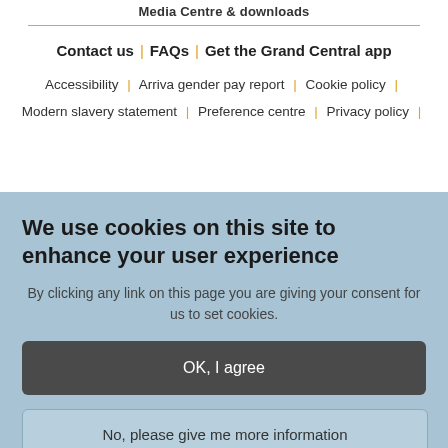Media Centre & downloads
Contact us | FAQs | Get the Grand Central app
Accessibility | Arriva gender pay report | Cookie policy | Modern slavery statement | Preference centre | Privacy policy |
We use cookies on this site to enhance your user experience
By clicking any link on this page you are giving your consent for us to set cookies.
OK, I agree
No, please give me more information